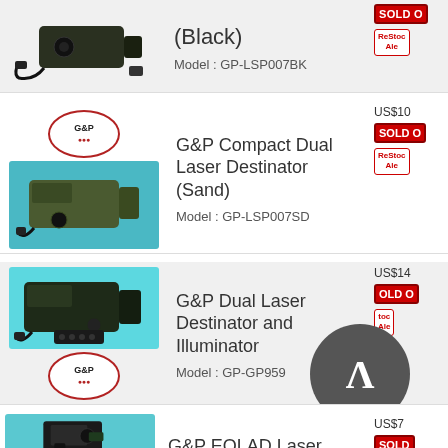[Figure (photo): Product row 1: G&P laser device (Black) - GP-LSP007BK, sold out with restock alert badge]
(Black)
Model : GP-LSP007BK
[Figure (photo): Product row 2: G&P Compact Dual Laser Destinator (Sand) - GP-LSP007SD, sold out with restock alert badge, G&P logo shown]
G&P Compact Dual Laser Destinator (Sand)
Model : GP-LSP007SD
[Figure (photo): Product row 3: G&P Dual Laser Destinator and Illuminator - GP-GP959, sold out with restock alert, G&P logo shown, lambda overlay circle]
G&P Dual Laser Destinator and Illuminator
Model : GP-GP959
[Figure (photo): Product row 4 (partial): G&P EOLAD Laser device shown partially, US$7x price partially visible, sold out badge partially visible]
G&P EOLAD Laser